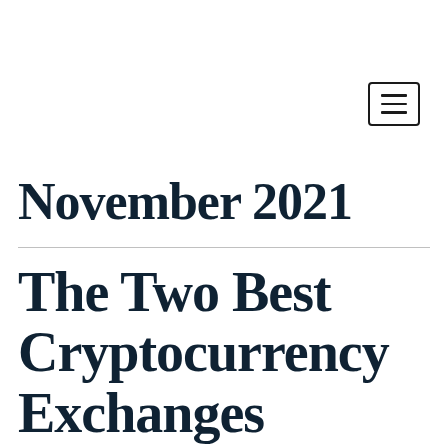[Figure (other): Hamburger menu button icon — three horizontal lines inside a rounded rectangle border]
November 2021
The Two Best Cryptocurrency Exchanges